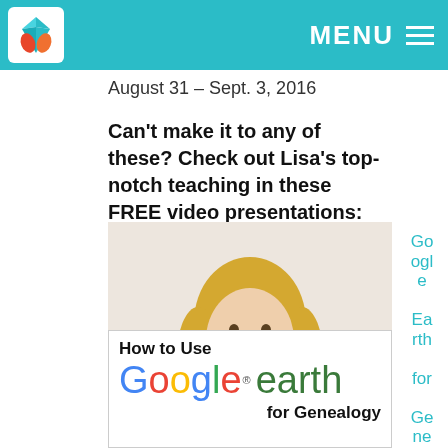MENU
August 31 – Sept. 3, 2016
Can't make it to any of these? Check out Lisa's top-notch teaching in these FREE video presentations:
[Figure (photo): Woman with blonde hair in purple top leaning on surface, smiling. Overlay card shows 'How to Use Google earth for Genealogy' with Google Earth logo.]
Google Earth for Genealogy